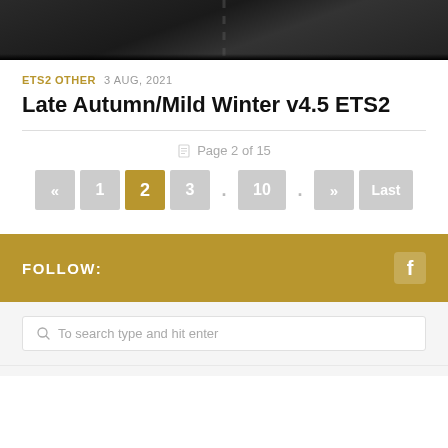[Figure (photo): Dark road/highway photo strip at top of page]
ETS2 OTHER  3 AUG, 2021
Late Autumn/Mild Winter v4.5 ETS2
Page 2 of 15
« 1 2 3 . 10 . » Last
FOLLOW:
To search type and hit enter